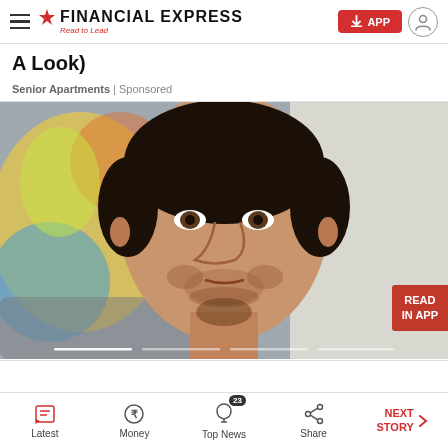Financial Express — Read to Lead
A Look)
Senior Apartments | Sponsored
[Figure (photo): Close-up portrait of a man with short dark hair and stubble beard, looking directly at the camera. Colorful artwork visible in the background on the left, light-colored wall visible on the right.]
Latest | Money | Top News (23) | Share | NEXT STORY